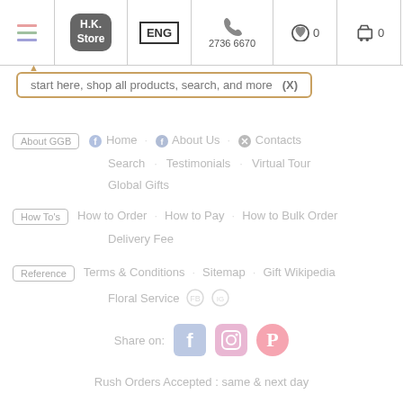[Figure (screenshot): Top navigation bar with hamburger menu, H.K. Store button, ENG language toggle, phone number 2736 6670, heart/wishlist icon with 0, cart icon with 0, and user profile icon]
start here, shop all products, search, and more  (X)
About GGB  |  Home  |  About Us  |  Contacts
Search  |  Testimonials  |  Virtual Tour
Global Gifts
How To's  |  How to Order  |  How to Pay  |  How to Bulk Order
Delivery Fee
Reference  |  Terms & Conditions  |  Sitemap  |  Gift Wikipedia
Floral Service
Share on:
Rush Orders Accepted : same & next day